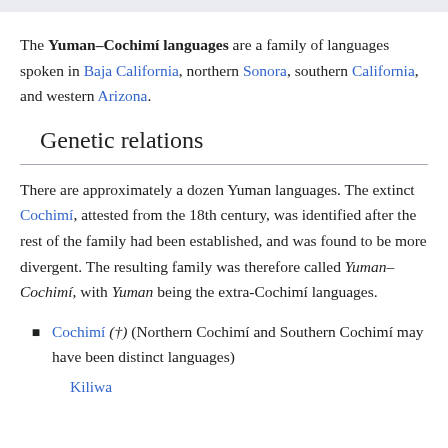The Yuman–Cochimí languages are a family of languages spoken in Baja California, northern Sonora, southern California, and western Arizona.
Genetic relations
There are approximately a dozen Yuman languages. The extinct Cochimí, attested from the 18th century, was identified after the rest of the family had been established, and was found to be more divergent. The resulting family was therefore called Yuman–Cochimí, with Yuman being the extra-Cochimí languages.
Cochimí (†) (Northern Cochimí and Southern Cochimí may have been distinct languages)
Kiliwa